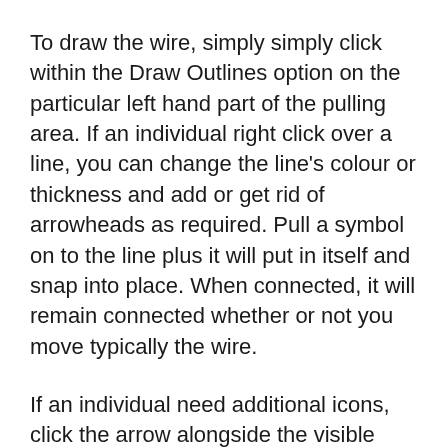To draw the wire, simply simply click within the Draw Outlines option on the particular left hand part of the pulling area. If an individual right click over a line, you can change the line's colour or thickness and add or get rid of arrowheads as required. Pull a symbol on to the line plus it will put in itself and snap into place. When connected, it will remain connected whether or not you move typically the wire.
If an individual need additional icons, click the arrow alongside the visible catalogue to bring upward a drop down menu and select A lot more. You'll be in a position to search with regard to additional symbols in addition to open any appropriate libraries.